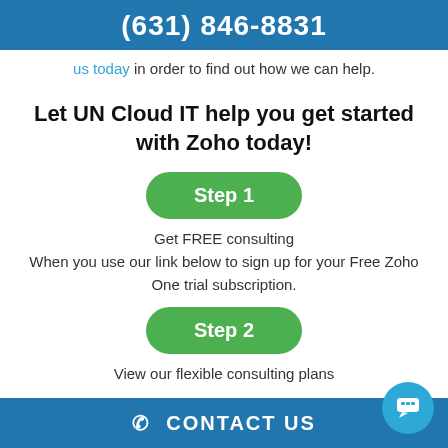(631) 846-8831
us today in order to find out how we can help.
Let UN Cloud IT help you get started with Zoho today!
Step 1
Get FREE consulting
When you use our link below to sign up for your Free Zoho One trial subscription.
Step 2
View our flexible consulting plans
CONTACT US